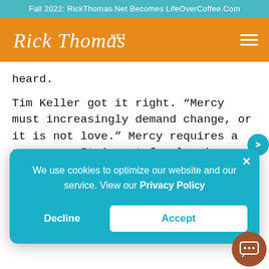Fall 2022: RickThomas.Net Becomes LifeOverCoffee.Com
[Figure (logo): Rick Thomas .net logo in white italic script on orange header background with hamburger menu icon]
heard.
Tim Keller got it right. “Mercy must increasingly demand change, or it is not love.” Mercy requires a response. It is not freely given just for us to enjoy temporarily. Mercy is extended as kindness from God as we can [continue]... st.
We use cookies to optimize our website and our service. View our Privacy Policy
Decline
Accept